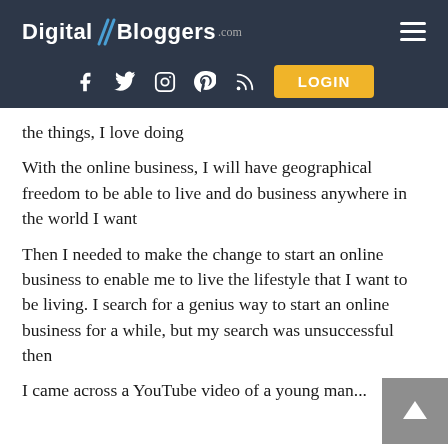Digital//Bloggers.com
the things, I love doing
With the online business, I will have geographical freedom to be able to live and do business anywhere in the world I want
Then I needed to make the change to start an online business to enable me to live the lifestyle that I want to be living. I search for a genius way to start an online business for a while, but my search was unsuccessful then
I came across a YouTube video of a young man...